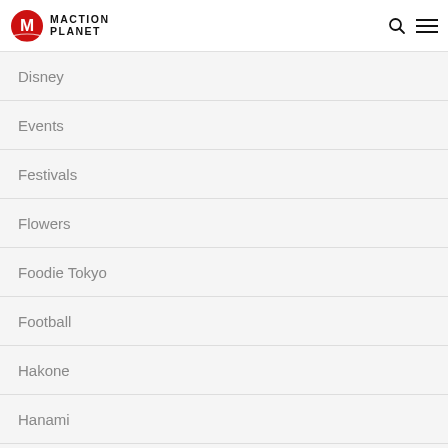Maction Planet
Disney
Events
Festivals
Flowers
Foodie Tokyo
Football
Hakone
Hanami
Hiking
Hiroshima